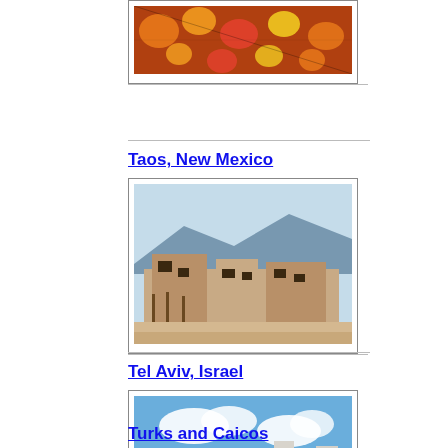[Figure (photo): Partially visible photo of orange/yellow flowers at top of page]
Taos, New Mexico
[Figure (photo): Photo of adobe ruins with mountains in background, Taos New Mexico]
Tel Aviv, Israel
[Figure (photo): Photo of Tel Aviv beachfront skyline with ocean and buildings]
Turks and Caicos